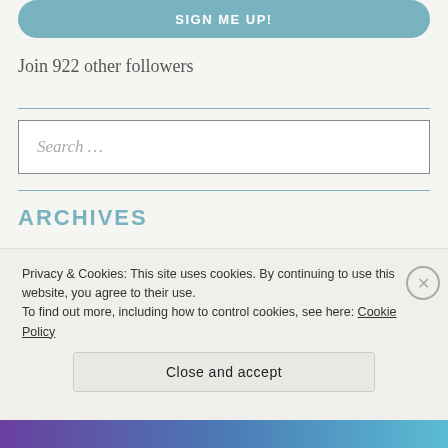[Figure (other): Blue rounded 'SIGN ME UP!' button]
Join 922 other followers
Search ...
ARCHIVES
Select Month
Privacy & Cookies: This site uses cookies. By continuing to use this website, you agree to their use.
To find out more, including how to control cookies, see here: Cookie Policy
Close and accept